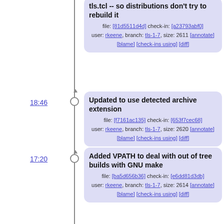tls.tcl -- so distributions don't try to rebuild it
file: [81d5511d4d] check-in: [a23793abf0]
user: rkeene, branch: tls-1-7, size: 2611 [annotate]
[blame] [check-ins using] [diff]
18:46
Updated to use detected archive extension
file: [f7161ac135] check-in: [653f7cec68]
user: rkeene, branch: tls-1-7, size: 2620 [annotate]
[blame] [check-ins using] [diff]
17:20
Added VPATH to deal with out of tree builds with GNU make
file: [ba5d656b36] check-in: [e6dd81d3db]
user: rkeene, branch: tls-1-7, size: 2614 [annotate]
[blame] [check-ins using] [diff]
17:18
Updated to create a ".linkadd" file when creating a static archive for static linking that describes what we need to link to
file: [ba06834a4a] check-in: [7a4440b028]
user: rkeene, branch: tls-1-7, size: 2597 [annotate]
[blame] [check-ins using] [diff]
16:53
Added a dependency on the Makefile for most targets